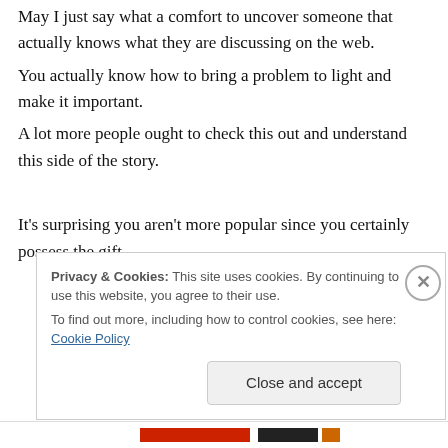May I just say what a comfort to uncover someone that actually knows what they are discussing on the web. You actually know how to bring a problem to light and make it important. A lot more people ought to check this out and understand this side of the story.

It's surprising you aren't more popular since you certainly possess the gift.
Privacy & Cookies: This site uses cookies. By continuing to use this website, you agree to their use. To find out more, including how to control cookies, see here: Cookie Policy